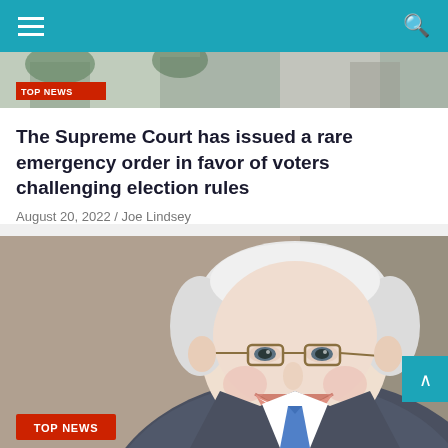Navigation bar with menu and search icons
[Figure (photo): Partial top image of a building with trees, with a red TOP NEWS label overlay]
The Supreme Court has issued a rare emergency order in favor of voters challenging election rules
August 20, 2022 / Joe Lindsey
[Figure (photo): Portrait photo of an elderly white-haired man with glasses smiling broadly, wearing a suit and blue tie. A red TOP NEWS badge is in the bottom left corner.]